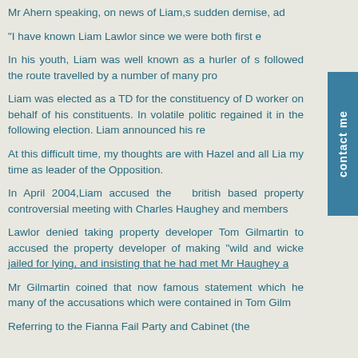Mr Ahern speaking, on news of Liam,s sudden demise, ad
"I have known Liam Lawlor since we were both first e
In his youth, Liam was well known as a hurler of s followed the route travelled by a number of many pro
Liam was elected as a TD for the constituency of D worker on behalf of his constituents. In volatile politic regained it in the following election. Liam announced his re
At this difficult time, my thoughts are with Hazel and all Lia my time as leader of the Opposition.
In April 2004,Liam accused the  british based property controversial meeting with Charles Haughey and members
Lawlor denied taking property developer Tom Gilmartin to accused the property developer of making "wild and wicke jailed for lying, and insisting that he had met Mr Haughey a
Mr Gilmartin coined that now famous statement which he many of the accusations which were contained in Tom Gilm
Referring to the Fianna Fail Party and Cabinet (the